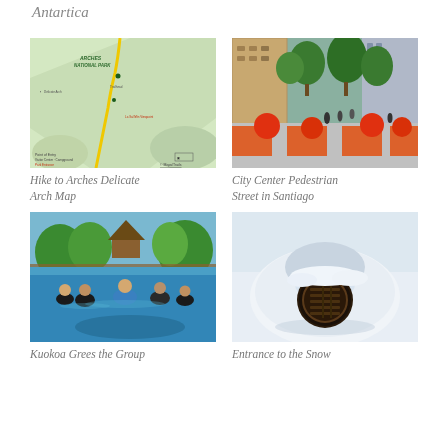Antartica
[Figure (map): Hike to Arches National Park map showing trails and roads]
Hike to Arches Delicate Arch Map
[Figure (photo): City center pedestrian street in Santiago with orange balls and red painted stripes on ground]
City Center Pedestrian Street in Santiago
[Figure (photo): Group of people in water at Kuokoa resort with tropical huts and palms in background]
Kuokoa Grees the Group
[Figure (photo): Entrance to a snow igloo/dome structure with circular wooden door]
Entrance to the Snow